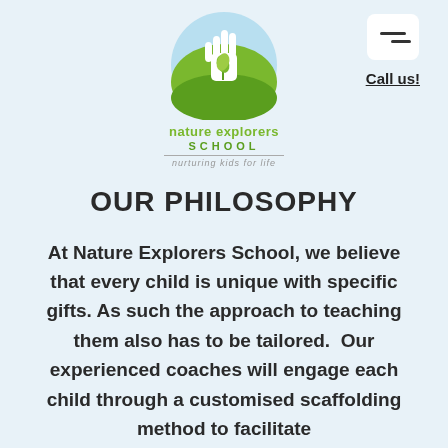[Figure (logo): Nature Explorers School logo: green circle with white hand and plant, text 'nature explorers SCHOOL' and tagline 'nurturing kids for life']
Call us!
OUR PHILOSOPHY
At Nature Explorers School, we believe that every child is unique with specific gifts. As such the approach to teaching them also has to be tailored.  Our experienced coaches will engage each child through a customised scaffolding method to facilitate